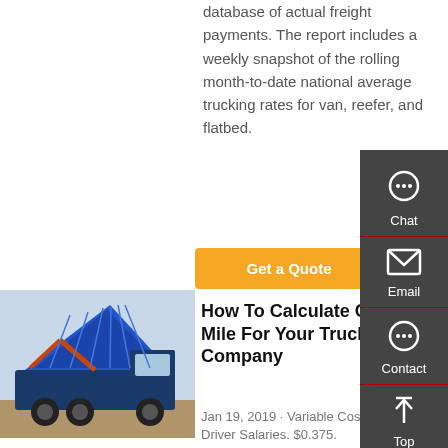database of actual freight payments. The report includes a weekly snapshot of the rolling month-to-date national average trucking rates for van, reefer, and flatbed.
Get a Quote
[Figure (photo): A blue dump truck with its bed raised, outdoors on a dirt surface.]
How To Calculate Cost Per Mile For Your Trucking Company
Jan 19, 2019 · Variable Costs. $0.3665. Driver Salaries. $0.375.